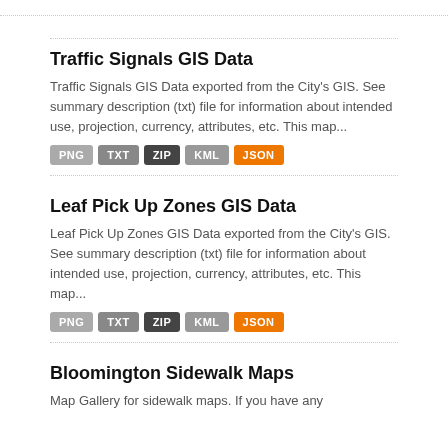Traffic Signals GIS Data
Traffic Signals GIS Data exported from the City's GIS. See summary description (txt) file for information about intended use, projection, currency, attributes, etc. This map...
PNG TXT ZIP KML JSON
Leaf Pick Up Zones GIS Data
Leaf Pick Up Zones GIS Data exported from the City's GIS. See summary description (txt) file for information about intended use, projection, currency, attributes, etc. This map...
PNG TXT ZIP KML JSON
Bloomington Sidewalk Maps
Map Gallery for sidewalk maps. If you have any